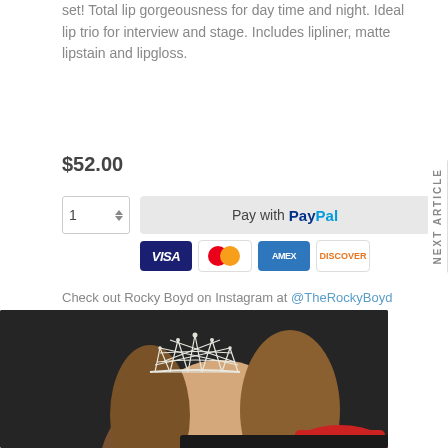set! Total lip gorgeousness for day time and night. Ideal lip trio for interview and stage. Includes lipliner, matte lipstain and lipgloss.
$52.00
[Figure (screenshot): Purchase widget with quantity selector showing '1' and PayPal payment button, with VISA, Mastercard, AMEX, and Discover card logos below]
Check out Rocky Boyd on Instagram at @TheRockyBoyd
[Figure (photo): Woman wearing a decorative white crown/tiara with brown hair, against dark background, with red hat visible at bottom right]